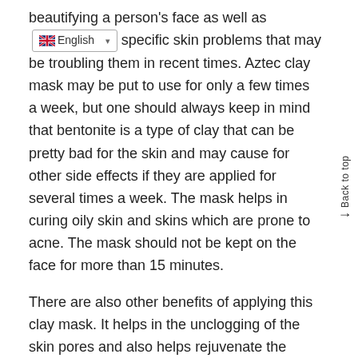beautifying a person's face as well as specific skin problems that may be troubling them in recent times. Aztec clay mask may be put to use for only a few times a week, but one should always keep in mind that bentonite is a type of clay that can be pretty bad for the skin and may cause for other side effects if they are applied for several times a week. The mask helps in curing oily skin and skins which are prone to acne. The mask should not be kept on the face for more than 15 minutes.
There are also other benefits of applying this clay mask. It helps in the unclogging of the skin pores and also helps rejuvenate the growth of various pores which have gone dead, which in turn helps in the exfoliation of the skin pores. There are multiple toxins in our skin which allocates the spaces and pores of the skin and this clay mask with their benefits also helps in the reduction of these toxins. Other than this, there are other benefits as well. The clay mask helps in brightening and softening the skin on the face. There are fewer appearances of scars on the face, and the skin tone is made